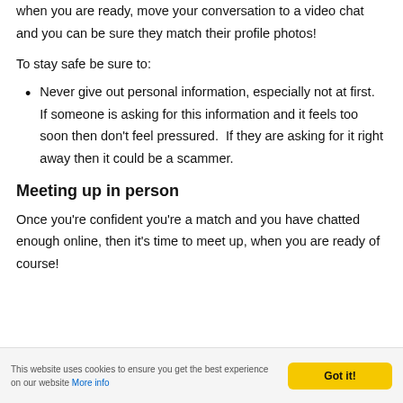when you are ready, move your conversation to a video chat and you can be sure they match their profile photos!
To stay safe be sure to:
Never give out personal information, especially not at first.  If someone is asking for this information and it feels too soon then don't feel pressured.  If they are asking for it right away then it could be a scammer.
Meeting up in person
Once you're confident you're a match and you have chatted enough online, then it's time to meet up, when you are ready of course!
This website uses cookies to ensure you get the best experience on our website More info | Got it!